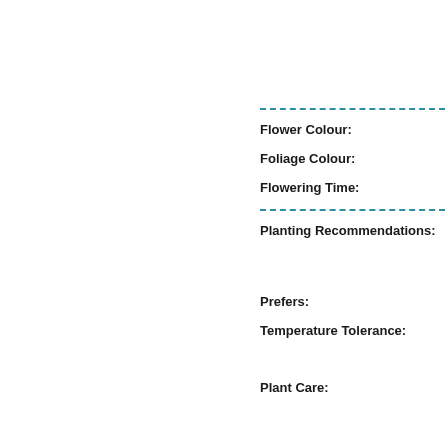Flower Colour:
Foliage Colour:
Flowering Time:
Planting Recommendations:
Prefers:
Temperature Tolerance:
Plant Care: